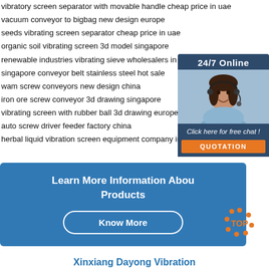vibratory screen separator with movable handle cheap price in uae
vacuum conveyor to bigbag new design europe
seeds vibrating screen separator cheap price in uae
organic soil vibrating screen 3d model singapore
renewable industries vibrating sieve wholesalers in in...
singapore conveyor belt stainless steel hot sale
wam screw conveyors new design china
iron ore screw conveyor 3d drawing singapore
vibrating screen with rubber ball 3d drawing europe
auto screw driver feeder factory china
herbal liquid vibration screen equipment company in u...
[Figure (screenshot): 24/7 Online chat widget with customer service photo, 'Click here for free chat!' text and QUOTATION button]
Learn More Information About Products
Know More
Xinxiang Dayong Vibration